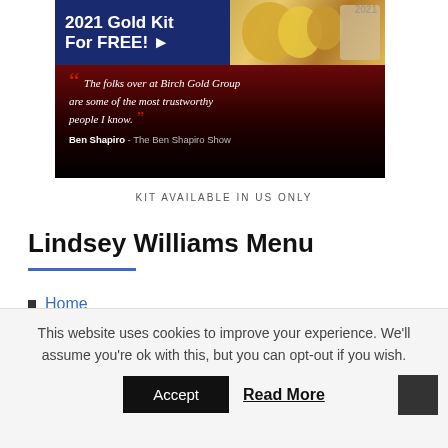[Figure (advertisement): Birch Gold Group 2021 Gold Kit For FREE advertisement banner with quote from Ben Shapiro: 'The folks over at Birch Gold Group are some of the most trustworthy people I know.' - Ben Shapiro - The Ben Shapiro Show]
KIT AVAILABLE IN US ONLY
Lindsey Williams Menu
Home
This website uses cookies to improve your experience. We'll assume you're ok with this, but you can opt-out if you wish.
Accept
Read More